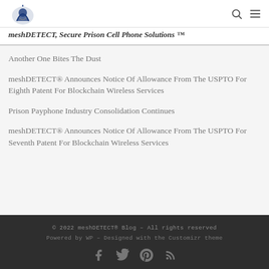meshDETECT, Secure Prison Cell Phone Solutions ™
Another One Bites The Dust
meshDETECT® Announces Notice Of Allowance From The USPTO For Eighth Patent For Blockchain Wireless Services
Prison Payphone Industry Consolidation Continues
meshDETECT® Announces Notice Of Allowance From The USPTO For Seventh Patent For Blockchain Wireless Services
© 2022 meshDETECT® Blog – All rights reserved
Powered by WP – Designed with the Customizr theme